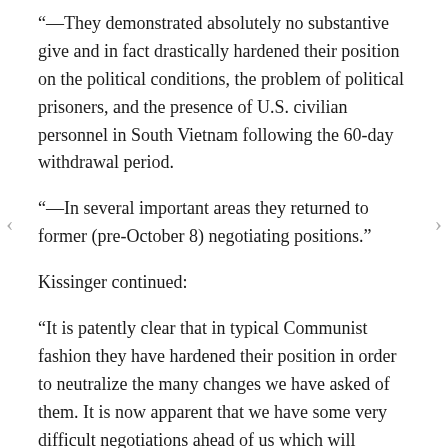“—They demonstrated absolutely no substantive give and in fact drastically hardened their position on the political conditions, the problem of political prisoners, and the presence of U.S. civilian personnel in South Vietnam following the 60-day withdrawal period.
“—In several important areas they returned to former (pre-October 8) negotiating positions.”
Kissinger continued:
“It is patently clear that in typical Communist fashion they have hardened their position in order to neutralize the many changes we have asked of them. It is now apparent that we have some very difficult negotiations ahead of us which will probably keep us here for the remainder of the week.” He continued: “During tomorrow’s session we will attempt to reduce the now-serious areas of difference and focus more clearly on the more crucial changes which we must have. The task ahead is a considerable one but it is still obvious that the North Vietnamese do want a settlement. One of the main difficulties